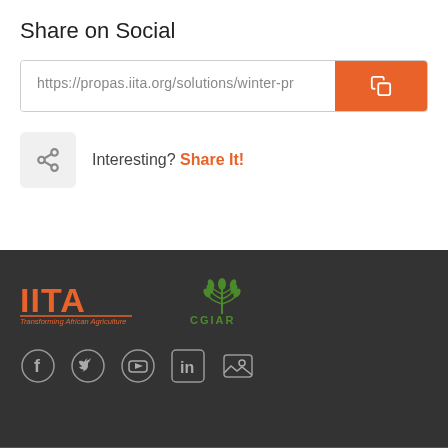Share on Social
https://propas.iita.org/solutions/winter-pr
Interesting? Share It!
[Figure (logo): IITA and CGIAR logos in footer]
[Figure (infographic): Social media icons: Facebook, Twitter, YouTube, LinkedIn, and image gallery icon]